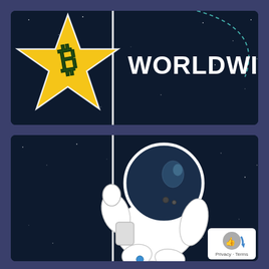[Figure (illustration): Top panel: dark space background with a yellow star-shaped Bitcoin flag (showing the Bitcoin 'B' symbol) on a pole, and the word 'WORLDWIDE' in large white bold text to the right. A faint teal dashed line arc is visible in the upper right corner.]
[Figure (illustration): Bottom panel: dark space background with a cartoon white astronaut figure holding the flag pole, facing away from the viewer. The astronaut has a round helmet with reflective visor, white suit, and a small blue detail. The flag pole extends upward into the top panel.]
Privacy · Terms